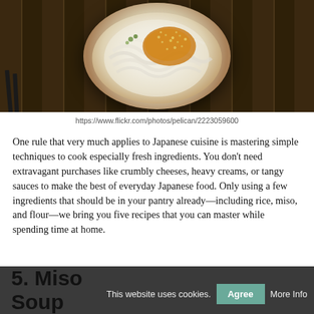[Figure (photo): A white bowl of udon noodles topped with sesame seeds and a golden-orange sauce/topping, photographed from above on a dark wooden surface with chopsticks visible.]
https://www.flickr.com/photos/pelican/2223059600
One rule that very much applies to Japanese cuisine is mastering simple techniques to cook especially fresh ingredients. You don't need extravagant purchases like crumbly cheeses, heavy creams, or tangy sauces to make the best of everyday Japanese food. Only using a few ingredients that should be in your pantry already—including rice, miso, and flour—we bring you five recipes that you can master while spending time at home.
5. Miso Soup